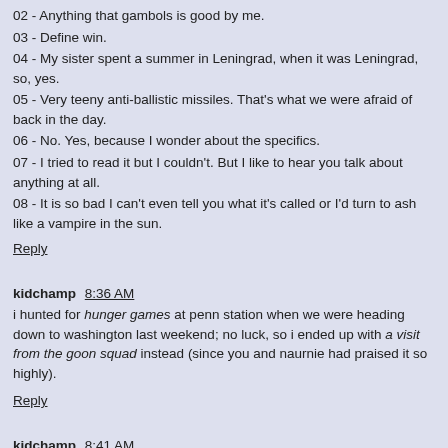02 - Anything that gambols is good by me.
03 - Define win.
04 - My sister spent a summer in Leningrad, when it was Leningrad, so, yes.
05 - Very teeny anti-ballistic missiles. That's what we were afraid of back in the day.
06 - No. Yes, because I wonder about the specifics.
07 - I tried to read it but I couldn't. But I like to hear you talk about anything at all.
08 - It is so bad I can't even tell you what it's called or I'd turn to ash like a vampire in the sun.
Reply
kidchamp  8:36 AM
i hunted for hunger games at penn station when we were heading down to washington last weekend; no luck, so i ended up with a visit from the goon squad instead (since you and naurnie had praised it so highly).
Reply
kidchamp  8:41 AM